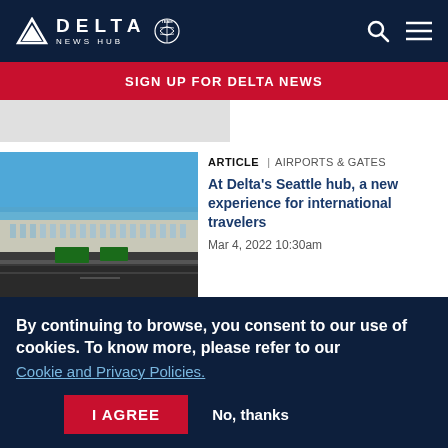DELTA NEWS HUB
SIGN UP FOR DELTA NEWS
[Figure (screenshot): Partial grey placeholder image strip]
[Figure (photo): Aerial photo of an airport terminal with blue sky — Delta's Seattle hub]
ARTICLE | AIRPORTS & GATES
At Delta's Seattle hub, a new experience for international travelers
Mar 4, 2022 10:30am
By continuing to browse, you consent to our use of cookies. To know more, please refer to our Cookie and Privacy Policies.
I AGREE
No, thanks